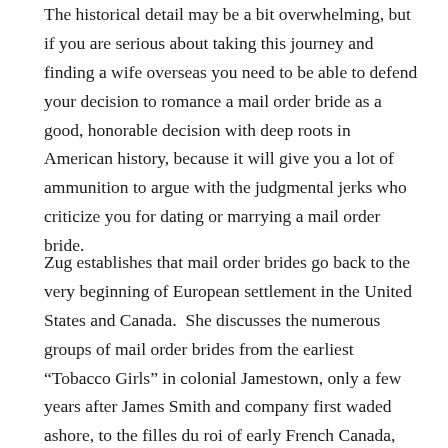The historical detail may be a bit overwhelming, but if you are serious about taking this journey and finding a wife overseas you need to be able to defend your decision to romance a mail order bride as a good, honorable decision with deep roots in American history, because it will give you a lot of ammunition to argue with the judgmental jerks who criticize you for dating or marrying a mail order bride.
Zug establishes that mail order brides go back to the very beginning of European settlement in the United States and Canada.  She discusses the numerous groups of mail order brides from the earliest “Tobacco Girls” in colonial Jamestown, only a few years after James Smith and company first waded ashore, to the filles du roi of early French Canada, and the later mail